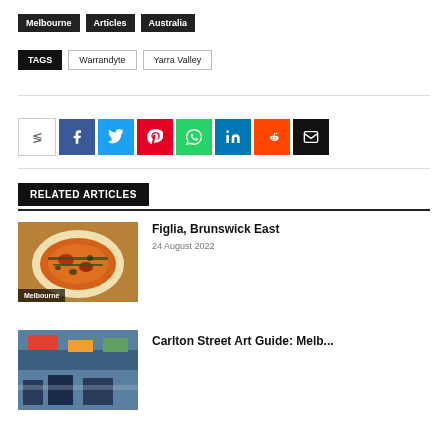Melbourne  Articles  Australia
TAGS  Warrandyte  Yarra Valley
[Figure (infographic): Social media share buttons: share icon box, Facebook, Twitter, Pinterest, WhatsApp, LinkedIn, Reddit, Email]
RELATED ARTICLES
[Figure (photo): Photo of a pizza with greens and toppings on a white plate, with Melbourne tag overlay]
Figlia, Brunswick East
24 August 2022
[Figure (photo): Partial photo of another article (street art guide Melbourne)]